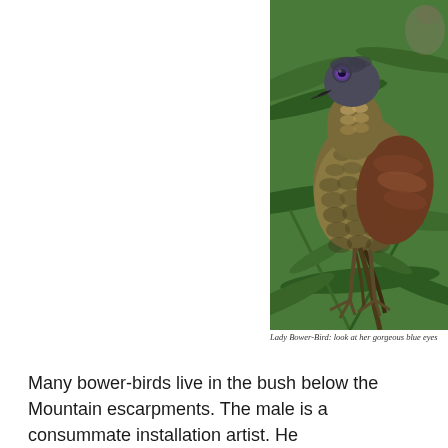[Figure (photo): A Lady Bower-Bird perched on a branch surrounded by green fern foliage. The bird has distinctive blue/violet eyes, olive-brown and gold scalloped plumage on the body, darker brown wings, and is facing left.]
Lady Bower-Bird: look at her gorgeous blue eyes
Many bower-birds live in the bush below the Mountain escarpments. The male is a consummate installation artist. He